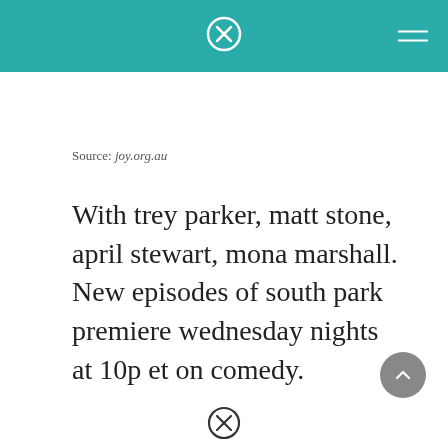joy.org.au header with logo and hamburger menu
Source: joy.org.au
With trey parker, matt stone, april stewart, mona marshall. New episodes of south park premiere wednesday nights at 10p et on comedy.